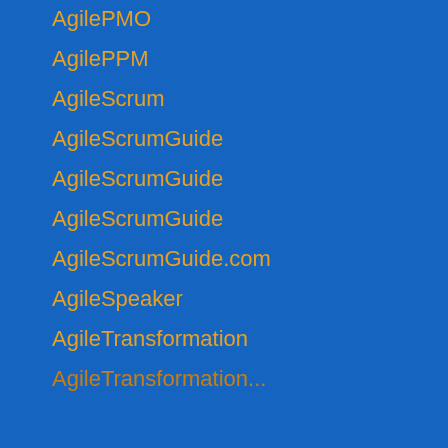AgilePMO
AgilePPM
AgileScrum
AgileScrumGuide
AgileScrumGuide
AgileScrumGuide
AgileScrumGuide.com
AgileSpeaker
AgileTransformation
AgileTransformation...